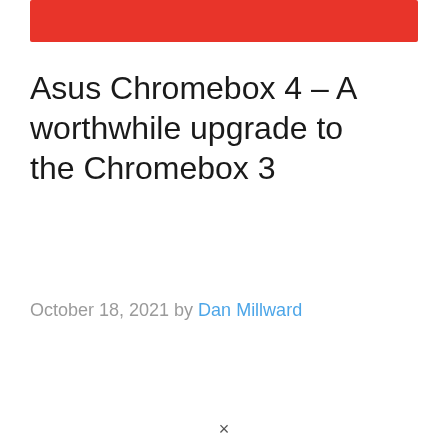[Figure (other): Red horizontal banner bar at top of page]
Asus Chromebox 4 – A worthwhile upgrade to the Chromebox 3
October 18, 2021 by Dan Millward